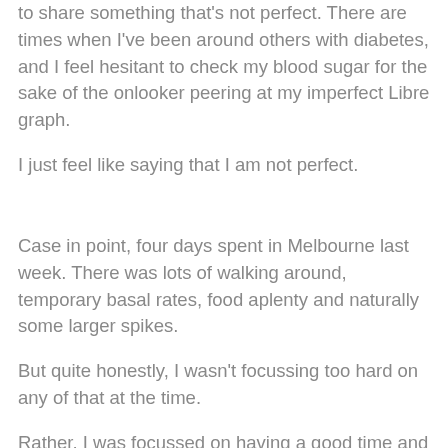to share something that's not perfect. There are times when I've been around others with diabetes, and I feel hesitant to check my blood sugar for the sake of the onlooker peering at my imperfect Libre graph.
I just feel like saying that I am not perfect.
Case in point, four days spent in Melbourne last week. There was lots of walking around, temporary basal rates, food aplenty and naturally some larger spikes.
But quite honestly, I wasn't focussing too hard on any of that at the time.
Rather, I was focussed on having a good time and seeing what those overly Melbourne people rave on about.